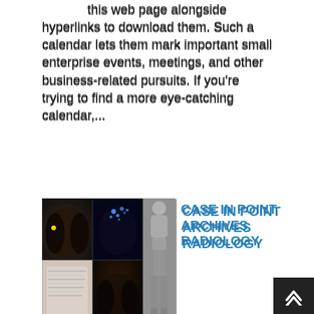this web page alongside hyperlinks to download them. Such a calendar lets them mark important small enterprise events, meetings, and other business-related pursuits. If you're trying to find a more eye-catching calendar,...
[Figure (photo): Composite medical radiology image showing MRI scans of hip/pelvis region in a 2x2 grid alongside a full-body PET/bone scan silhouette]
CASE IN POINT ARCHIVES RADIOLOGY
The case in point archives radiology is the easiest reminder. A meeting calendar is perfect for you. The calendars are offered on this page alongside hyperlinks to download them. Such a calendar lets them mark important small business occasions, meetings, and different business-related pursuits. If you happen to're searching for a more eye-catching calendar, below...